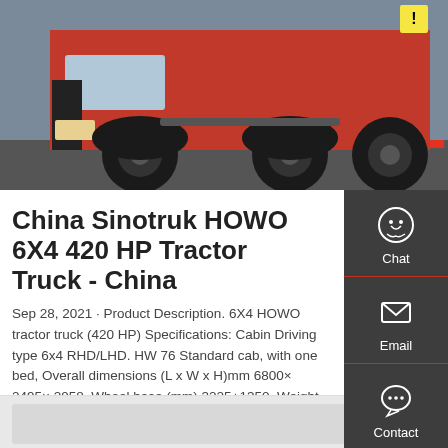[Figure (photo): Red Sinotruk HOWO 6X4 tractor truck, close-up of front wheels and cab, street background]
China Sinotruk HOWO 6X4 420 HP Tractor Truck - China
Sep 28, 2021 · Product Description. 6X4 HOWO tractor truck (420 HP) Specifications: Cabin Driving type 6x4 RHD/LHD. HW 76 Standard cab, with one bed, Overall dimensions (L x W x H)mm 6800× 2495× 2958. Wheel base (mm) 3225+1350. Weight in KGSTare Weight 9230.
GET A QUOTE
[Figure (photo): Partial view of another truck image at the bottom of the page]